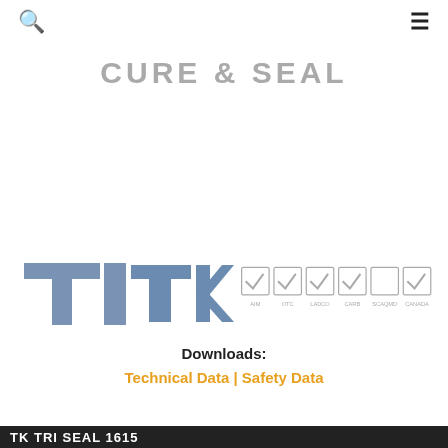🔍  ≡
CURE & SEAL
[Figure (logo): TK logo with six compliance checkboxes labeled AIM, OTC, LADCO, CARB, SCAQMD, CANADA. Checkboxes for AIM, OTC, LADCO, CARB, and CANADA are checked; SCAQMD is unchecked.]
Downloads:
Technical Data | Safety Data
TK TRI SEAL 1615